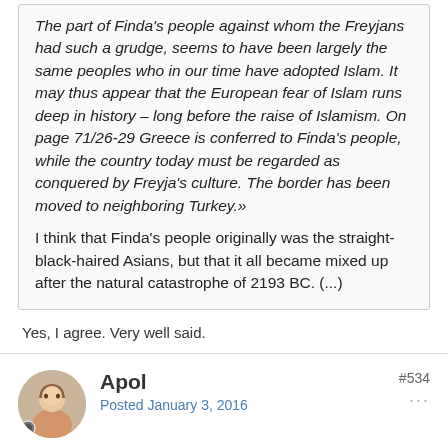The part of Finda's people against whom the Freyjans had such a grudge, seems to have been largely the same peoples who in our time have adopted Islam. It may thus appear that the European fear of Islam runs deep in history – long before the raise of Islamism. On page 71/26-29 Greece is conferred to Finda's people, while the country today must be regarded as conquered by Freyja's culture. The border has been moved to neighboring Turkey.»
I think that Finda's people originally was the straight-black-haired Asians, but that it all became mixed up after the natural catastrophe of 2193 BC. (...)
Yes, I agree. Very well said.
Apol
Posted January 3, 2016
#534
On 1/3/2016 at 2:52 PM, Other said: